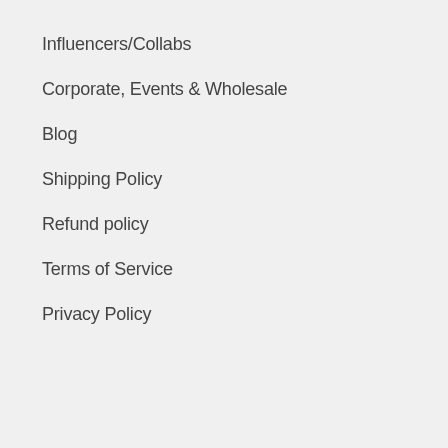Influencers/Collabs
Corporate, Events & Wholesale
Blog
Shipping Policy
Refund policy
Terms of Service
Privacy Policy